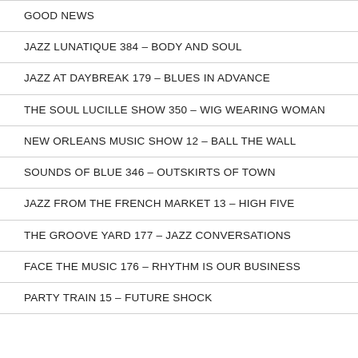GOOD NEWS
JAZZ LUNATIQUE 384 – BODY AND SOUL
JAZZ AT DAYBREAK 179 – BLUES IN ADVANCE
THE SOUL LUCILLE SHOW 350 – WIG WEARING WOMAN
NEW ORLEANS MUSIC SHOW 12 – BALL THE WALL
SOUNDS OF BLUE 346 – OUTSKIRTS OF TOWN
JAZZ FROM THE FRENCH MARKET 13 – HIGH FIVE
THE GROOVE YARD 177 – JAZZ CONVERSATIONS
FACE THE MUSIC 176 – RHYTHM IS OUR BUSINESS
PARTY TRAIN 15 – FUTURE SHOCK